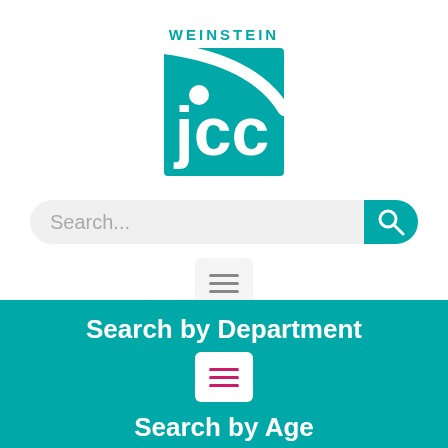[Figure (logo): Weinstein JCC logo — teal square with 'jcc' text in white and 'WEINSTEIN' above in teal letters]
Search...
[Figure (other): Hamburger menu icon button on white background]
Search by Department
[Figure (other): Hamburger menu icon button with pink lines on white background, on teal background]
Search by Age
[Figure (other): Hamburger menu icon button with pink lines on white background, on teal background (partial)]